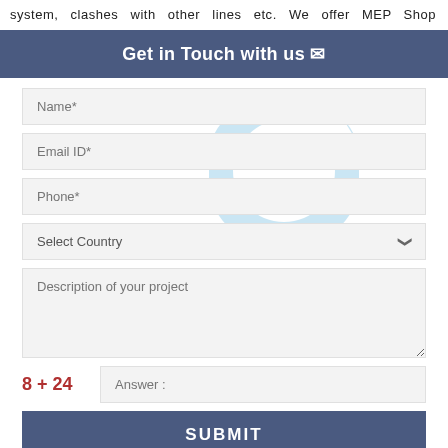system, clashes with other lines etc. We offer MEP Shop
Get in Touch with us ✉
[Figure (logo): Light blue circular donut/ring logo watermark overlaid on the form area]
Name*
Email ID*
Phone*
Select Country
Description of your project
Answer :
SUBMIT